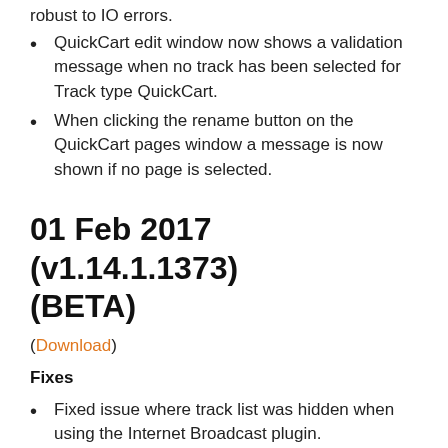robust to IO errors.
QuickCart edit window now shows a validation message when no track has been selected for Track type QuickCart.
When clicking the rename button on the QuickCart pages window a message is now shown if no page is selected.
01 Feb 2017 (v1.14.1.1373) (BETA)
(Download)
Fixes
Fixed issue where track list was hidden when using the Internet Broadcast plugin.
29 Jan 2017 (v1.14.1.1369)